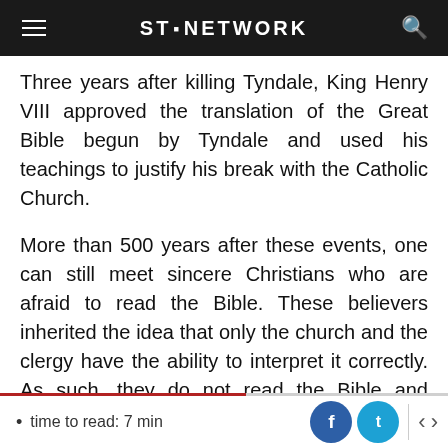ST. NETWORK
Three years after killing Tyndale, King Henry VIII approved the translation of the Great Bible begun by Tyndale and used his teachings to justify his break with the Catholic Church.
More than 500 years after these events, one can still meet sincere Christians who are afraid to read the Bible. These believers inherited the idea that only the church and the clergy have the ability to interpret it correctly. As such, they do not read the Bible and remain firmly convinced that they would do more harm by reading it.
time to read: 7 min